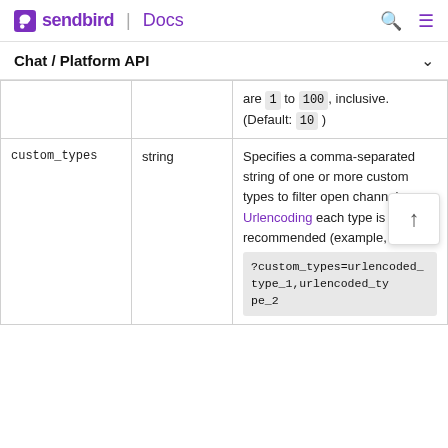sendbird | Docs
Chat / Platform API
| Parameter | Type | Description |
| --- | --- | --- |
|  |  | are 1 to 100, inclusive. (Default: 10 ) |
| custom_types | string | Specifies a comma-separated string of one or more custom types to filter open channels. Urlencoding each type is recommended (example, ?custom_types=urlencoded_type_1,urlencoded_ty pe_2 |